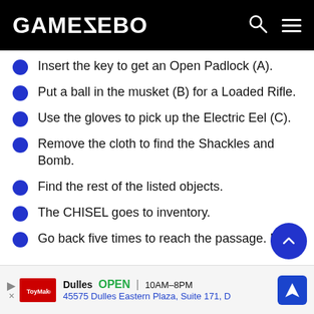GAMEZEBO
Insert the key to get an Open Padlock (A).
Put a ball in the musket (B) for a Loaded Rifle.
Use the gloves to pick up the Electric Eel (C).
Remove the cloth to find the Shackles and Bomb.
Find the rest of the listed objects.
The CHISEL goes to inventory.
Go back five times to reach the passage. F
Dulles OPEN | 10AM–8PM 45575 Dulles Eastern Plaza, Suite 171, D